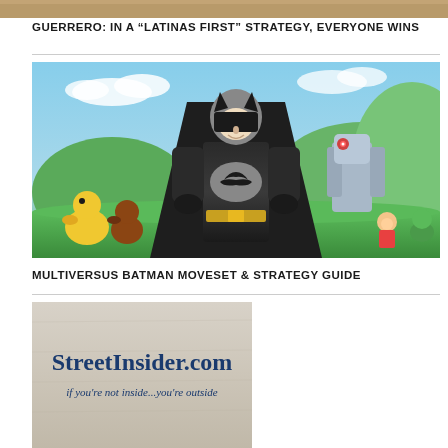[Figure (photo): Top cropped image strip (partial image visible at top of page)]
GUERRERO: IN A “LATINAS FIRST” STRATEGY, EVERYONE WINS
[Figure (illustration): MultiVersus game promotional image featuring Batman in gray and black costume in the foreground, with animated characters including Iron Giant, Harley Quinn, Scooby-Doo characters, Steven Universe, and others in a colorful outdoor setting]
MULTIVERSUS BATMAN MOVESET & STRATEGY GUIDE
[Figure (logo): StreetInsider.com advertisement with text 'StreetInsider.com' and tagline 'if you're not inside...you're outside' on a light stone/parchment background]